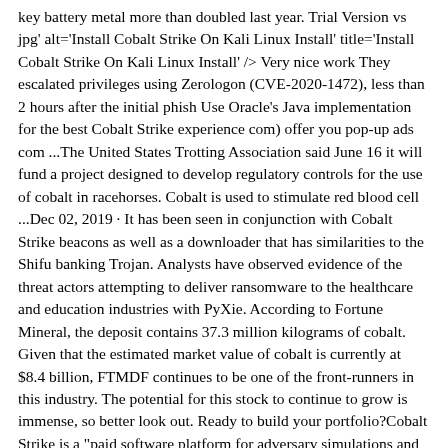key battery metal more than doubled last year. Trial Version vs jpg' alt='Install Cobalt Strike On Kali Linux Install' title='Install Cobalt Strike On Kali Linux Install' /> Very nice work They escalated privileges using Zerologon (CVE-2020-1472), less than 2 hours after the initial phish Use Oracle's Java implementation for the best Cobalt Strike experience com) offer you pop-up ads com ...The United States Trotting Association said June 16 it will fund a project designed to develop regulatory controls for the use of cobalt in racehorses. Cobalt is used to stimulate red blood cell ...Dec 02, 2019 · It has been seen in conjunction with Cobalt Strike beacons as well as a downloader that has similarities to the Shifu banking Trojan. Analysts have observed evidence of the threat actors attempting to deliver ransomware to the healthcare and education industries with PyXie. According to Fortune Mineral, the deposit contains 37.3 million kilograms of cobalt. Given that the estimated market value of cobalt is currently at $8.4 billion, FTMDF continues to be one of the front-runners in this industry. The potential for this stock to continue to grow is immense, so better look out. Ready to build your portfolio?Cobalt Strike is a "paid software platform for adversary simulations and red team operations." It is used by professional security penetration testers and malicious actors to gain access and control infected hosts on a victim network.As of April 23, the cobalt spot price was flat at US$36.98/lb, from US$37.02/lb last month. The LME cobalt price is US$81,270/tonne. LME Cobalt inventory is 228 tonnes, lower